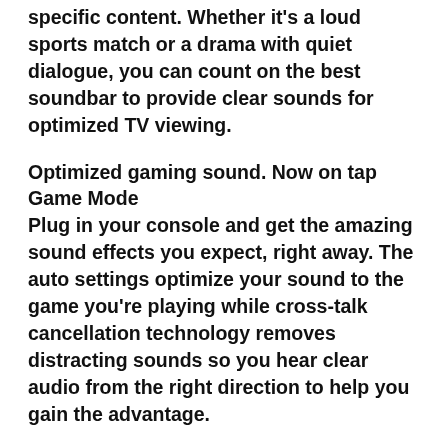specific content. Whether it's a loud sports match or a drama with quiet dialogue, you can count on the best soundbar to provide clear sounds for optimized TV viewing.
Optimized gaming sound. Now on tap
Game Mode
Plug in your console and get the amazing sound effects you expect, right away. The auto settings optimize your sound to the game you're playing while cross-talk cancellation technology removes distracting sounds so you hear clear audio from the right direction to help you gain the advantage.
Richer sound